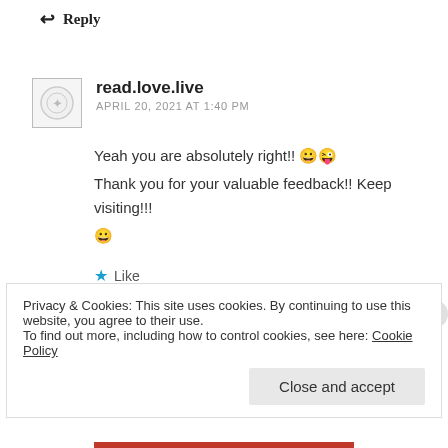↩ Reply
read.love.live
APRIL 20, 2021 AT 1:40 PM
Yeah you are absolutely right!! 😀😜
Thank you for your valuable feedback!! Keep visiting!!!
😀
★ Like
↩ Reply
Privacy & Cookies: This site uses cookies. By continuing to use this website, you agree to their use.
To find out more, including how to control cookies, see here: Cookie Policy
Close and accept